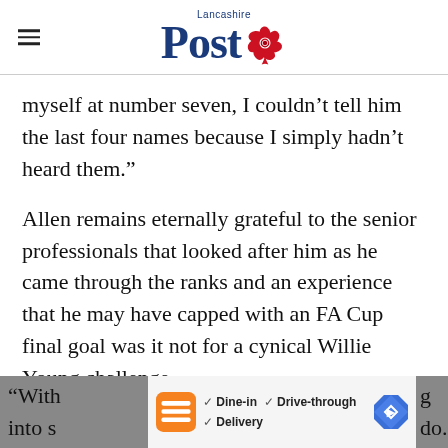Lancashire Post
myself at number seven, I couldn't tell him the last four names because I simply hadn't heard them."
Allen remains eternally grateful to the senior professionals that looked after him as he came through the ranks and an experience that he may have capped with an FA Cup final goal was it not for a cynical Willie Young challenge.
"With [partial] g into s[partial] do.
[Figure (other): Burger King advertisement banner with Dine-in, Drive-through, Delivery options and navigation arrow icon]